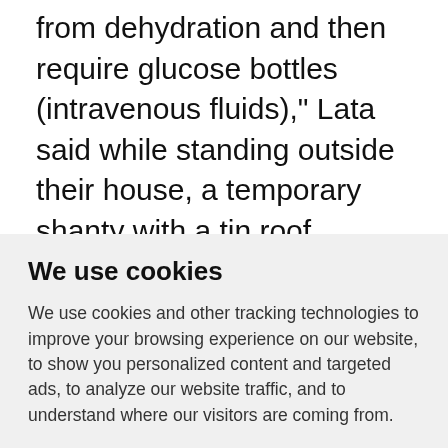from dehydration and then require glucose bottles (intravenous fluids)," Lata said while standing outside their house, a temporary shanty with a tin roof.
Scientists have linked the early onset of an intense summer to climate change, and say more than a billion people in India and
We use cookies
We use cookies and other tracking technologies to improve your browsing experience on our website, to show you personalized content and targeted ads, to analyze our website traffic, and to understand where our visitors are coming from.